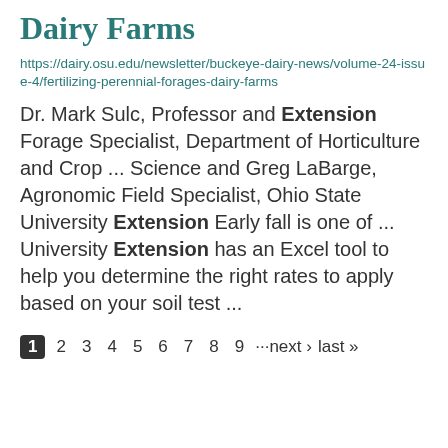Dairy Farms
https://dairy.osu.edu/newsletter/buckeye-dairy-news/volume-24-issue-4/fertilizing-perennial-forages-dairy-farms
Dr. Mark Sulc, Professor and Extension Forage Specialist, Department of Horticulture and Crop ... Science and Greg LaBarge, Agronomic Field Specialist, Ohio State University Extension Early fall is one of ... University Extension has an Excel tool to help you determine the right rates to apply based on your soil test ...
1 2 3 4 5 6 7 8 9 ···next › last »